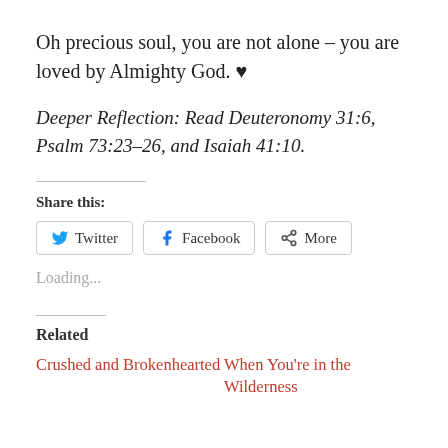Oh precious soul, you are not alone – you are loved by Almighty God. ♥
Deeper Reflection: Read Deuteronomy 31:6, Psalm 73:23–26, and Isaiah 41:10.
Share this:
Twitter  Facebook  More
Loading...
Related
Crushed and Brokenhearted
When You're in the Wilderness